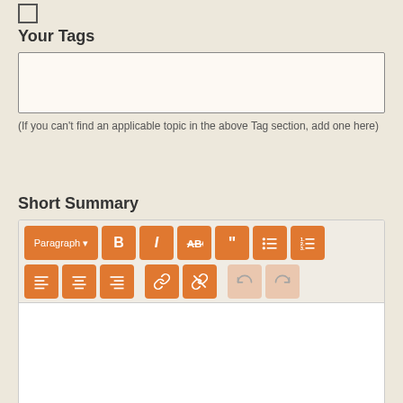Your Tags
(If you can't find an applicable topic in the above Tag section, add one here)
Short Summary
[Figure (screenshot): A rich text editor toolbar with formatting buttons: Paragraph dropdown, Bold (B), Italic (I), Strikethrough (ABC), Blockquote (quotation marks), Unordered list, Ordered list, Align left, Align center, Align right, Link, Unlink, Undo, Redo. Buttons are orange. Undo and Redo are faded/disabled. Below toolbar is a white text entry area.]